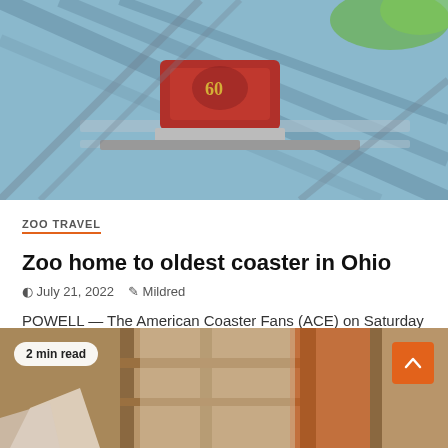[Figure (photo): Aerial or close-up view of a roller coaster car on rails, red car visible, steel blue structure]
ZOO TRAVEL
Zoo home to oldest coaster in Ohio
© July 21, 2022  ✎ Mildred
POWELL — The American Coaster Fans (ACE) on Saturday unveiled an ACE Roller Coaster Landmark plaque for the Columbus Zoo...
[Figure (photo): Interior construction or wooden structure photo, partially visible. Badge: '2 min read'. Orange back-to-top button.]